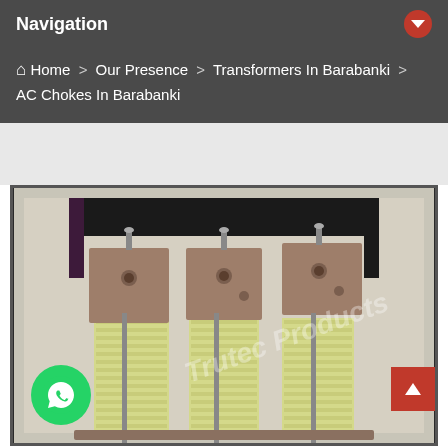Navigation
Home > Our Presence > Transformers In Barabanki > AC Chokes In Barabanki
[Figure (photo): Photo of three-phase AC choke / reactor with copper bus bar connections and yellow insulated coil bobbins, branded Trutec Products]